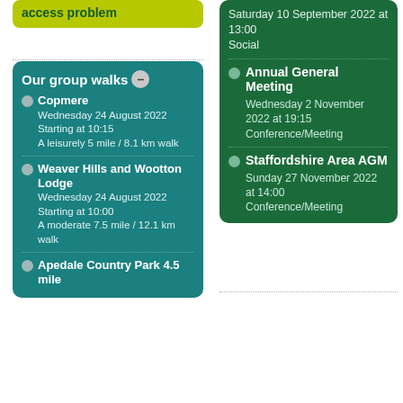access problem
Copmere
Wednesday 24 August 2022
Starting at 10:15
A leisurely 5 mile / 8.1 km walk
Weaver Hills and Wootton Lodge
Wednesday 24 August 2022
Starting at 10:00
A moderate 7.5 mile / 12.1 km walk
Apedale Country Park 4.5 mile
Saturday 10 September 2022 at 13:00
Social
Annual General Meeting
Wednesday 2 November 2022 at 19:15
Conference/Meeting
Staffordshire Area AGM
Sunday 27 November 2022 at 14:00
Conference/Meeting